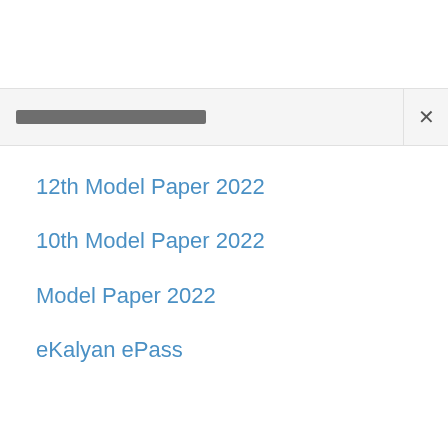[Figure (screenshot): Search bar UI element with a dark gray filled text area and an X close button on the right, over a light gray background.]
12th Model Paper 2022
10th Model Paper 2022
Model Paper 2022
eKalyan ePass
192.168.0.1
Scholarship- Fellowship